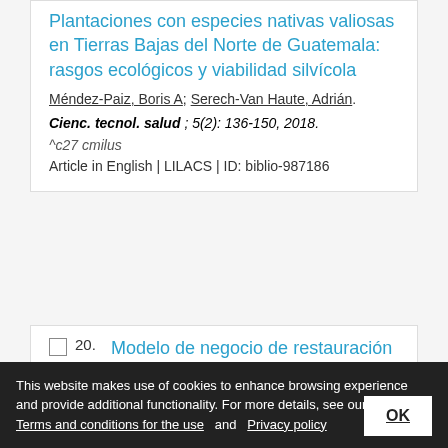Plantaciones con especies nativas valiosas en Tierras Bajas del Norte de Guatemala: rasgos ecológicos y viabilidad silvícola
Méndez-Paiz, Boris A; Serech-Van Haute, Adrián.
Cienc. tecnol. salud ; 5(2): 136-150, 2018.
^c27 cmilus
Article in English | LILACS | ID: biblio-987186
Modelo de negocio de restauración productiva de Abies guatemalensis
This website makes use of cookies to enhance browsing experience and provide additional functionality. For more details, see ours: Terms and conditions for the use and Privacy policy
OK